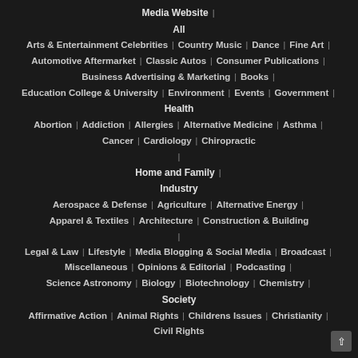Media Website
All
Arts & Entertainment Celebrities | Country Music | Dance | Fine Art |
Automotive Aftermarket | Classic Autos | Consumer Publications |
Business Advertising & Marketing | Books |
Education College & University | Environment | Events | Government |
Health
Abortion | Addiction | Allergies | Alternative Medicine | Asthma |
Cancer | Cardiology | Chiropractic
|
Home and Family |
Industry
Aerospace & Defense | Agriculture | Alternative Energy |
Apparel & Textiles | Architecture | Construction & Building
|
Legal & Law | Lifestyle | Media Blogging & Social Media | Broadcast |
Miscellaneous | Opinions & Editorial | Podcasting |
Science Astronomy | Biology | Biotechnology | Chemistry |
Society
Affirmative Action | Animal Rights | Childrens Issues | Christianity |
Civil Rights